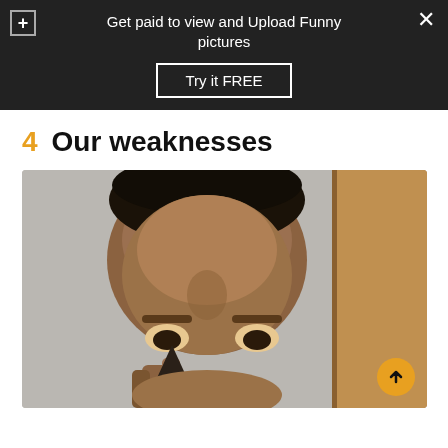Get paid to view and Upload Funny pictures
Try it FREE
4  Our weaknesses
[Figure (photo): Close-up photo of a person looking into the camera, holding something up near their face, with a door visible in the background.]